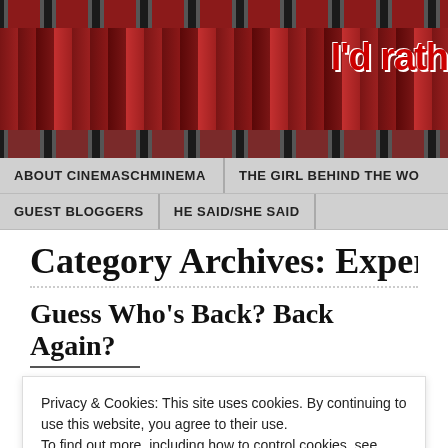[Figure (screenshot): Website banner with movie poster collage and red stylized text reading 'I'd rath...' on the right side, with film strip borders]
ABOUT CINEMASCHMINEMA | THE GIRL BEHIND THE WO... | GUEST BLOGGERS | HE SAID/SHE SAID
Category Archives: Experime...
Guess Who's Back? Back Again?
Privacy & Cookies: This site uses cookies. By continuing to use this website, you agree to their use. To find out more, including how to control cookies, see here: Cookie Policy
Close and accept
like that creepy clowndoll you can't get rid of but being ill makes me ra... see, right? 😉 ) WHY am I here? To let y'all know that the Portland Fil...